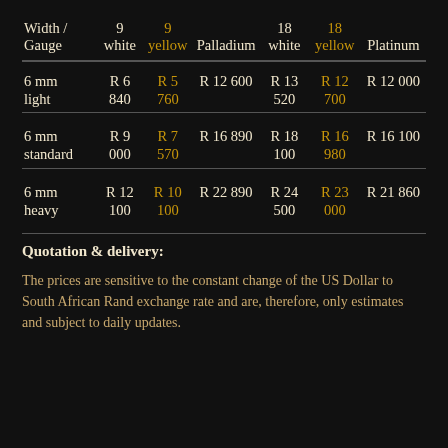| Width / Gauge | 9 white | 9 yellow | Palladium | 18 white | 18 yellow | Platinum |
| --- | --- | --- | --- | --- | --- | --- |
| 6 mm light | R 6 840 | R 5 760 | R 12 600 | R 13 520 | R 12 700 | R 12 000 |
| 6 mm standard | R 9 000 | R 7 570 | R 16 890 | R 18 100 | R 16 980 | R 16 100 |
| 6 mm heavy | R 12 100 | R 10 100 | R 22 890 | R 24 500 | R 23 000 | R 21 860 |
Quotation & delivery:
The prices are sensitive to the constant change of the US Dollar to South African Rand exchange rate and are, therefore, only estimates and subject to daily updates.